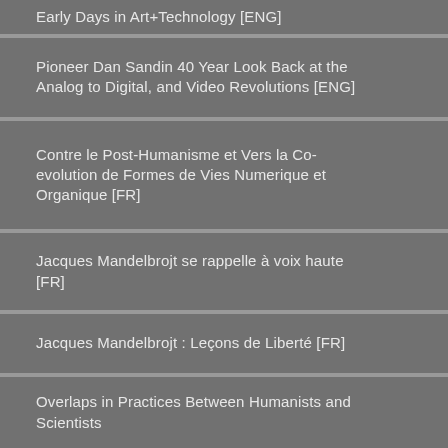Early Days in Art+Technology [ENG]
Pioneer Dan Sandin 40 Year Look Back at the Analog to Digital, and Video Revolutions [ENG]
Contre le Post-Humanisme et Vers la Co-evolution de Formes de Vies Numerique et Organique [FR]
Jacques Mandelbrojt se rappelle à voix haute [FR]
Jacques Mandelbrojt : Leçons de Liberté [FR]
Overlaps in Practices Between Humanists and Scientists